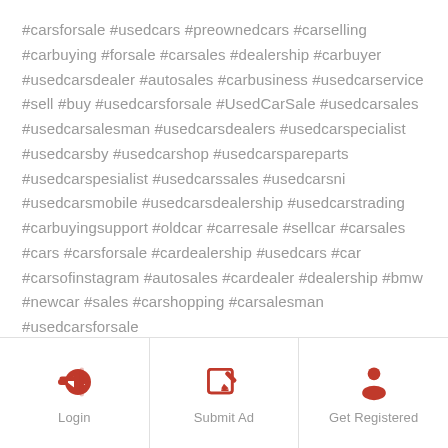#carsforsale #usedcars #preownedcars #carselling #carbuying #forsale #carsales #dealership #carbuyer #usedcarsdealer #autosales #carbusiness #usedcarservice #sell #buy #usedcarsforsale #UsedCarSale #usedcarsales #usedcarsalesman #usedcarsdealers #usedcarspecialist #usedcarsby #usedcarshop #usedcarspareparts #usedcarspesialist #usedcarssales #usedcarsni #usedcarsmobile #usedcarsdealership #usedcarstrading #carbuyingsupport #oldcar #carresale #sellcar #carsales #cars #carsforsale #cardealership #usedcars #car #carsofinstagram #autosales #cardealer #dealership #bmw #newcar #sales #carshopping #carsalesman #usedcarsforsale
Login | Submit Ad | Get Registered